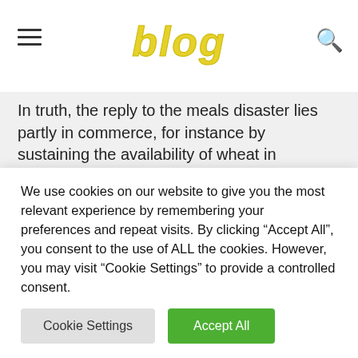BLOG
In truth, the reply to the meals disaster lies partly in commerce, for instance by sustaining the availability of wheat in importing international locations, regardless of the conflict in Ukraine and the blockade of the Black Sea, or by dissuading the States from impose restrictions on their exports. Due to an settlement which has simply been signed in Geneva, the World Meals Program (WFP) will likely
We use cookies on our website to give you the most relevant experience by remembering your preferences and repeat visits. By clicking “Accept All”, you consent to the use of ALL the cookies. However, you may visit “Cookie Settings” to provide a controlled consent.